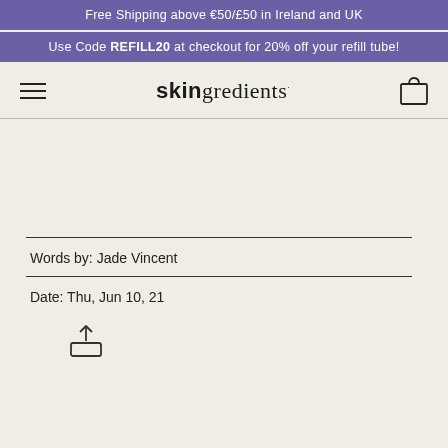Free Shipping above €50/£50 in Ireland and UK
Use Code REFILL20 at checkout for 20% off your refill tube!
[Figure (logo): Skingredients logo with hamburger menu and shopping bag icon]
Words by: Jade Vincent
Date: Thu, Jun 10, 21
[Figure (other): Share/upload icon]